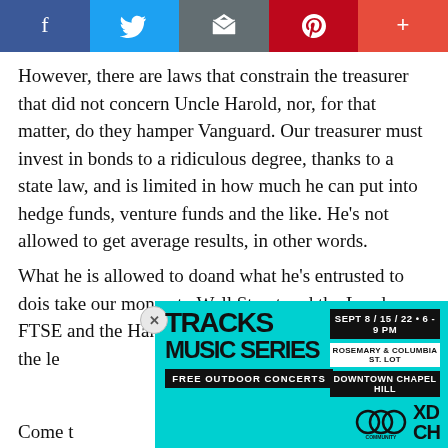[Figure (other): Social media share bar with Facebook, Twitter, Email, Pinterest, and plus buttons]
However, there are laws that constrain the treasurer that did not concern Uncle Harold, nor, for that matter, do they hamper Vanguard. Our treasurer must invest in bonds to a ridiculous degree, thanks to a state law, and is limited in how much he can put into hedge funds, venture funds and the like. He's not allowed to get average results, in other words.
What he is allowed to doand what he's entrusted to dois take our money to Wall Street and the London FTSE and the Hang Seng in Hong Kong and, within the le[ad overlay] for us, and no[ad overlay]
Come t[ad overlay] all public o[ad overlay] the
[Figure (infographic): Tracks Music Series advertisement. Cyan background. SEPT 8 / 15 / 22 • 6 - 9 PM, ROSEMARY & COLUMBIA ST. LOT, DOWNTOWN CHAPEL HILL, FREE OUTDOOR CONCERTS. Community Arts & Culture and XDCH logos.]